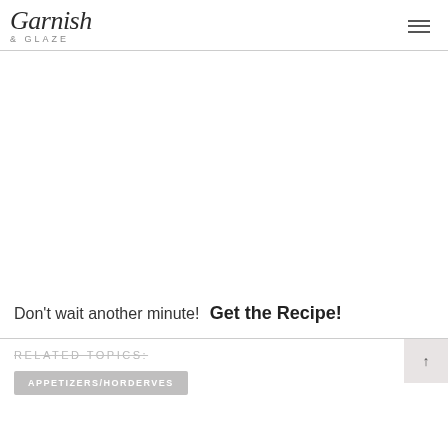Garnish & GLAZE
Don't wait another minute!  Get the Recipe!
RELATED TOPICS:
APPETIZERS/HORDERVES